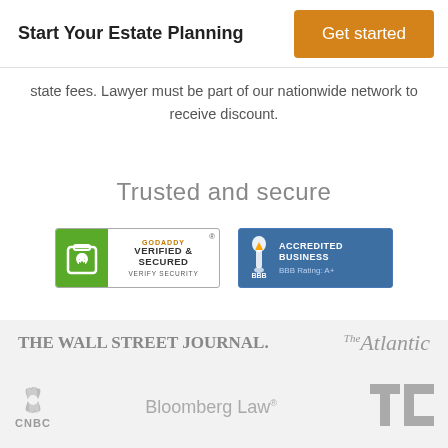Start Your Estate Planning
Get started
state fees. Lawyer must be part of our nationwide network to receive discount.
Trusted and secure
[Figure (logo): GoDaddy Verified & Secured badge with lock icon and 'VERIFY SECURITY' text]
[Figure (logo): BBB Accredited Business badge with torch logo and 'BBB Rating: A+']
[Figure (logo): The Wall Street Journal logo in gray]
[Figure (logo): The Atlantic logo in gray italic]
[Figure (logo): CNBC logo with peacock symbol in gray]
[Figure (logo): Bloomberg Law logo in gray]
[Figure (logo): TechCrunch TC logo in gray]